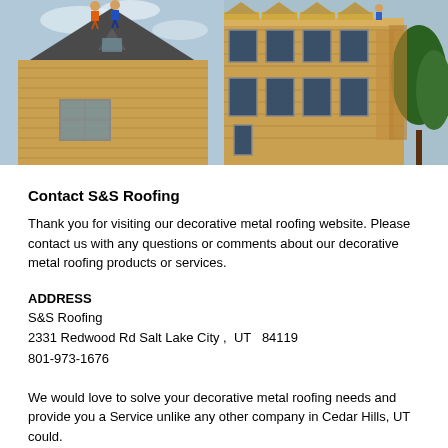[Figure (photo): Two side-by-side photos of buildings under construction with workers on rooftops installing roofing materials. Left photo shows a single house with wood sheathing and a dark shingled roof with two workers on top. Right photo shows a row of townhomes/buildings with wood sheathing and large windows, with a worker visible on top.]
Contact S&S Roofing
Thank you for visiting our decorative metal roofing website. Please contact us with any questions or comments about our decorative metal roofing products or services.
ADDRESS
S&S Roofing
2331 Redwood Rd Salt Lake City ,  UT   84119
801-973-1676
We would love to solve your decorative metal roofing needs and provide you a Service unlike any other company in Cedar Hills, UT could.